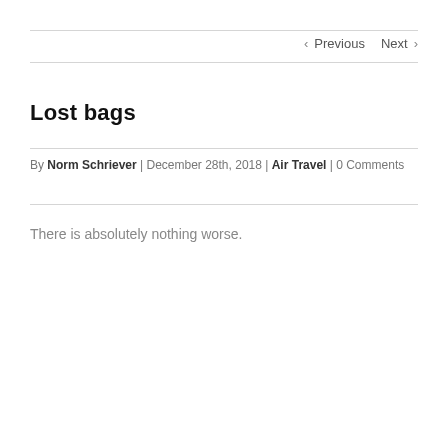< Previous   Next >
Lost bags
By Norm Schriever | December 28th, 2018 | Air Travel | 0 Comments
There is absolutely nothing worse.